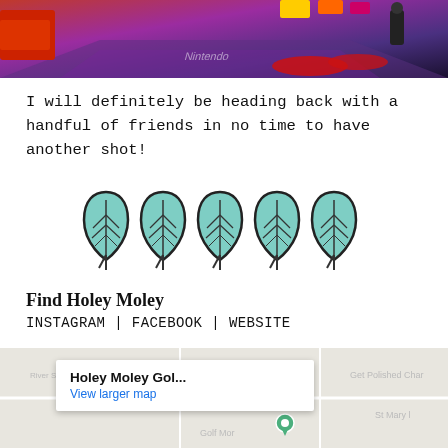[Figure (photo): Photo of a Nintendo-themed indoor venue with colourful neon lighting, red and purple tones, gaming floor mats visible]
I will definitely be heading back with a handful of friends in no time to have another shot!
[Figure (other): Five green leaf icons representing a 5-leaf rating]
Find Holey Moley
INSTAGRAM | FACEBOOK | WEBSITE
[Figure (map): Google Maps embed showing location of Holey Moley Golf with popup card reading 'Holey Moley Gol...' and 'View larger map']